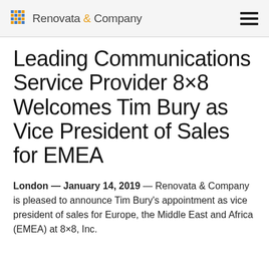Renovata & Company
Leading Communications Service Provider 8×8 Welcomes Tim Bury as Vice President of Sales for EMEA
London — January 14, 2019 — Renovata & Company is pleased to announce Tim Bury's appointment as vice president of sales for Europe, the Middle East and Africa (EMEA) at 8×8, Inc.